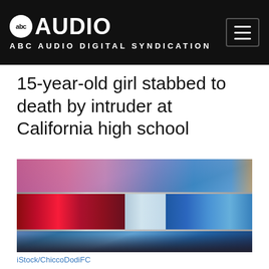ABC AUDIO DIGITAL SYNDICATION
15-year-old girl stabbed to death by intruder at California high school
[Figure (photo): Close-up of police car light bar with red and blue flashing lights]
iStock/ChiccoDodiFC